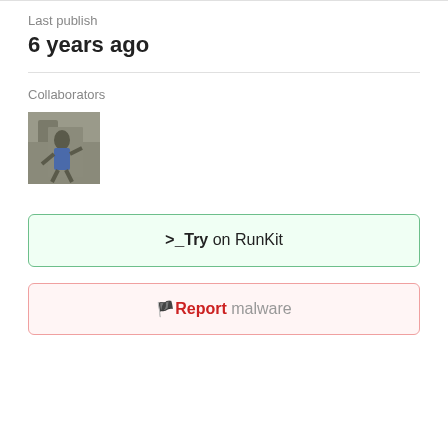Last publish
6 years ago
Collaborators
[Figure (photo): Small avatar photo of a person rock climbing]
>_Try on RunKit
🚩Report malware